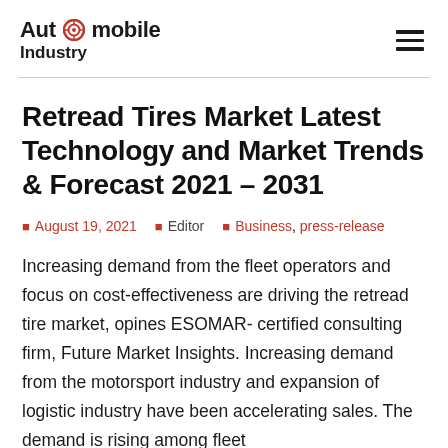Automobile Industry
Retread Tires Market Latest Technology and Market Trends & Forecast 2021 – 2031
August 19, 2021  Editor  Business, press-release
Increasing demand from the fleet operators and focus on cost-effectiveness are driving the retread tire market, opines ESOMAR- certified consulting firm, Future Market Insights. Increasing demand from the motorsport industry and expansion of logistic industry have been accelerating sales. The demand is rising among fleet